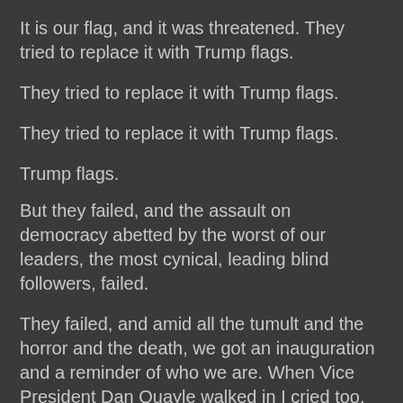It is our flag, and it was threatened. They tried to replace it with Trump flags.
They tried to replace it with Trump flags.
They tried to replace it with Trump flags.
Trump flags.
But they failed, and the assault on democracy abetted by the worst of our leaders, the most cynical, leading blind followers, failed.
They failed, and amid all the tumult and the horror and the death, we got an inauguration and a reminder of who we are. When Vice President Dan Quayle walked in I cried too. First of the high office holders, a member of the opposing party, representative of an administration with a leader who's passed on. President and Mrs. George W. Bush followed then the other ex-presidents. It was an important show of who we are, a democracy with procedures and symbolic